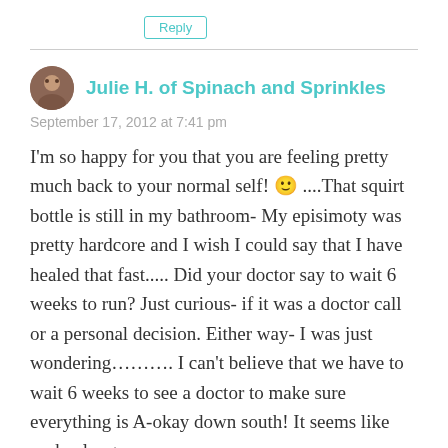Reply
Julie H. of Spinach and Sprinkles
September 17, 2012 at 7:41 pm
I'm so happy for you that you are feeling pretty much back to your normal self! 🙂 ....That squirt bottle is still in my bathroom- My episimoty was pretty hardcore and I wish I could say that I have healed that fast..... Did your doctor say to wait 6 weeks to run? Just curious- if it was a doctor call or a personal decision. Either way- I was just wondering………. I can't believe that we have to wait 6 weeks to see a doctor to make sure everything is A-okay down south! It seems like such a long...